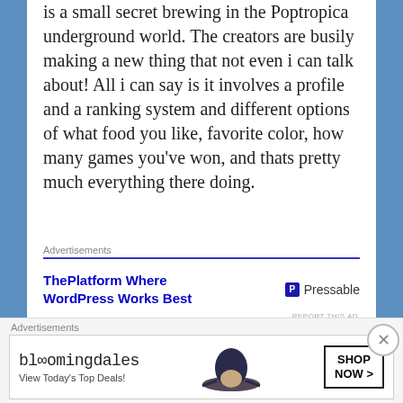is a small secret brewing in the Poptropica underground world. The creators are busily making a new thing that not even i can talk about! All i can say is it involves a profile and a ranking system and different options of what food you like, favorite color, how many games you've won, and thats pretty much everything there doing.
[Figure (other): Advertisements banner for ThePlatform Where WordPress Works Best by Pressable]
But don't panic! BOO! They are going to release Reality TV island soon. All will they. *scary music play*
[Figure (other): Advertisements banner for Bloomingdales - View Today's Top Deals! SHOP NOW >]